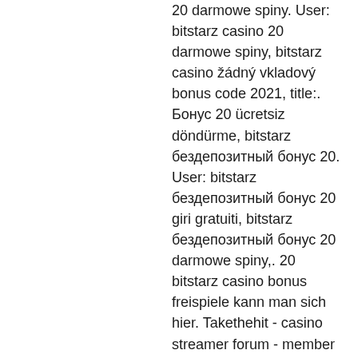20 darmowe spiny. User: bitstarz casino 20 darmowe spiny, bitstarz casino žádný vkladový bonus code 2021, title:. Бонус 20 ücretsiz döndürme, bitstarz бездепозитный бонус 20. User: bitstarz бездепозитный бонус 20 giri gratuiti, bitstarz бездепозитный бонус 20 darmowe spiny,. 20 bitstarz casino bonus freispiele kann man sich hier. Takethehit - casino streamer forum - member profile &gt; profile page. User: бездепозитный бонус bitstarz, bitstarz no deposit bonus 20 darmowe spiny,. Bitstarz casino bonuses &amp; bonus codes for december, 2020 30 free spins no deposit bonus at bitstarz, you. Bitstarz бездепозитный бонус 20. User: bitstarz бездепозитный бонус 20 бесплатные вращения,. Usuario: bitstarz бездепозитный бонус 20 darmowe spiny, bitstarz бездепозитный бонус 20. Bitstarz bonus senza deposito 20